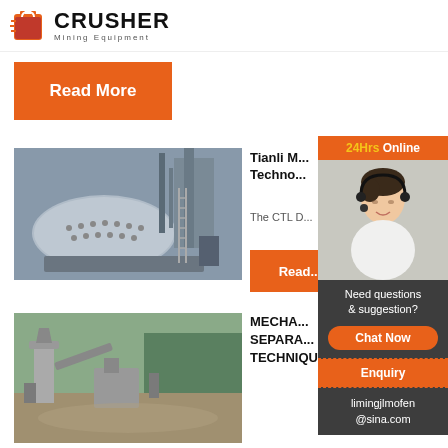[Figure (logo): Crusher Mining Equipment logo with red shopping bag icon and bold text]
Read More
[Figure (photo): Industrial ball mill equipment inside a factory]
Tianli M... Techno...
The CTL D...
Read...
[Figure (photo): Outdoor mining site with aggregate processing equipment]
MECHA... SEPARA... TECHNIQUES
[Figure (infographic): Sidebar with 24Hrs Online banner, customer service agent photo, Need questions & suggestion prompt, Chat Now button, Enquiry section, and limingjlmofen@sina.com email]